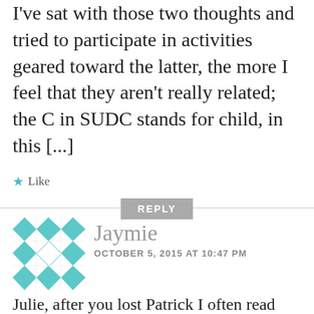[...] Loss Awareness Month. The more I've sat with those two thoughts and tried to participate in activities geared toward the latter, the more I feel that they aren't really related; the C in SUDC stands for child, in this [...]
★ Like
REPLY
[Figure (illustration): Teal and white geometric quilt-pattern avatar icon]
Jaymie
OCTOBER 5, 2015 AT 10:47 PM
Julie, after you lost Patrick I often read through the words that